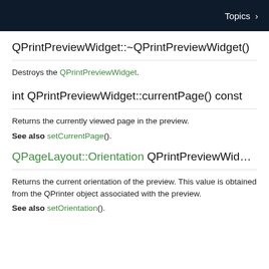Topics >
QPrintPreviewWidget::~QPrintPreviewWidget()
Destroys the QPrintPreviewWidget.
int QPrintPreviewWidget::currentPage() const
Returns the currently viewed page in the preview.
See also setCurrentPage().
QPageLayout::Orientation QPrintPreviewWidget::orientation() const
Returns the current orientation of the preview. This value is obtained from the QPrinter object associated with the preview.
See also setOrientation().